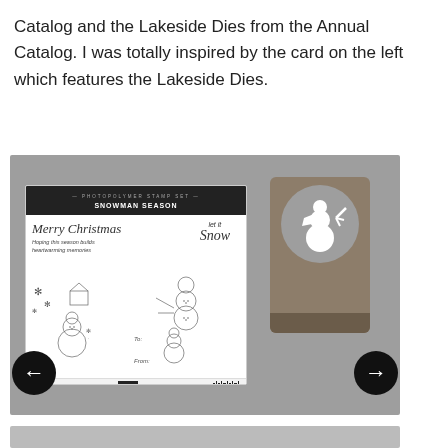Catalog and the Lakeside Dies from the Annual Catalog. I was totally inspired by the card on the left which features the Lakeside Dies.
[Figure (photo): Photo of Stampin' Up Snowman Season photopolymer stamp set (showing stamps with Merry Christmas, Let It Snow, snowmen, and holiday imagery) alongside a Snowman punch/die tool, displayed on a gray background. Navigation arrows (left and right) are visible on the sides.]